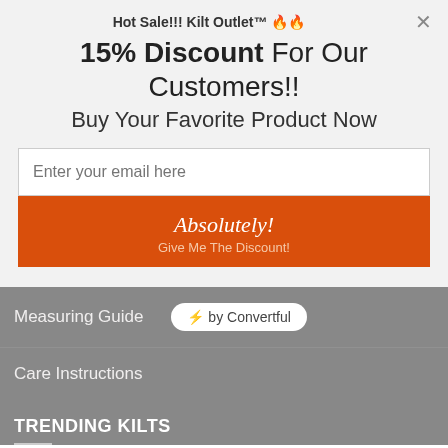Hot Sale!!! Kilt Outlet™ 🔥🔥
15% Discount For Our Customers!!
Buy Your Favorite Product Now
Enter your email here
Absolutely! Give Me The Discount!
Measuring Guide
Care Instructions
TRENDING KILTS
Gay Kilt
Great Kilt